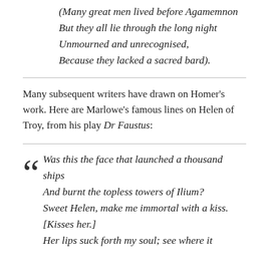(Many great men lived before Agamemnon
But they all lie through the long night
Unmourned and unrecognised,
Because they lacked a sacred bard).
Many subsequent writers have drawn on Homer's work. Here are Marlowe's famous lines on Helen of Troy, from his play Dr Faustus:
Was this the face that launched a thousand ships
And burnt the topless towers of Ilium?
Sweet Helen, make me immortal with a kiss. [Kisses her.]
Her lips suck forth my soul; see where it